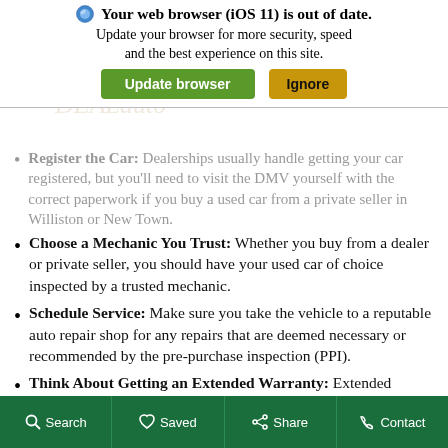Your web browser (iOS 11) is out of date. Update your browser for more security, speed and the best experience on this site.
Register the Car: Dealerships usually handle getting your car registered, but you'll need to visit the DMV yourself with the correct paperwork if you buy a used car from a private seller in Williston or New Town.
Choose a Mechanic You Trust: Whether you buy from a dealer or private seller, you should have your used car of choice inspected by a trusted mechanic.
Schedule Service: Make sure you take the vehicle to a reputable auto repair shop for any repairs that are deemed necessary or recommended by the pre-purchase inspection (PPI).
Think About Getting an Extended Warranty: Extended warranties vary widely, so it's important to research what options are the most sensible for you. Some warranties are only usable at certain auto shops, so be sure you know exactly what you're paying for. Still,
Search  Saved  Share  Contact